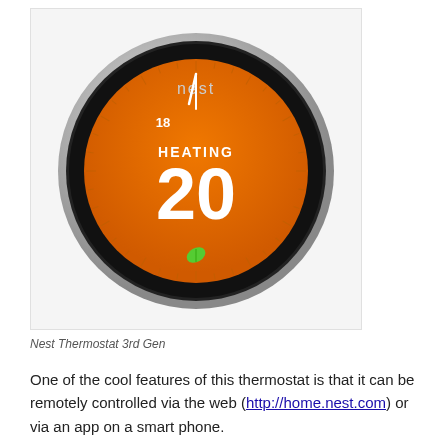[Figure (photo): Nest Thermostat 3rd Gen device showing orange display with HEATING and temperature 20, with a green leaf icon, on a white background card]
Nest Thermostat 3rd Gen
One of the cool features of this thermostat is that it can be remotely controlled via the web (http://home.nest.com) or via an app on a smart phone.